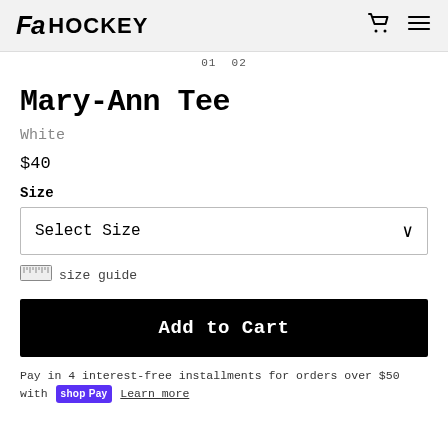FA HOCKEY
01 02
Mary-Ann Tee
White
$40
Size
Select Size
size guide
Add to Cart
Pay in 4 interest-free installments for orders over $50 with shop Pay Learn more